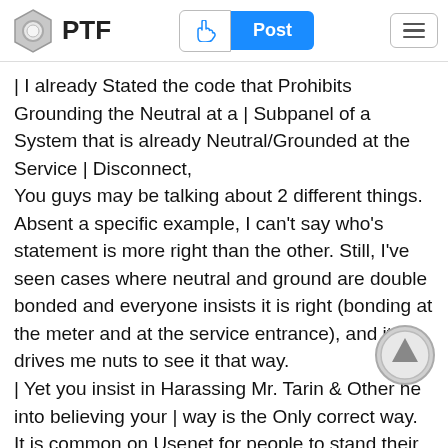PTF | Post
| I already Stated the code that Prohibits Grounding the Neutral at a | Subpanel of a System that is already Neutral/Grounded at the Service | Disconnect, You guys may be talking about 2 different things. Absent a specific example, I can't say who's statement is more right than the other. Still, I've seen cases where neutral and ground are double bonded and everyone insists it is right (bonding at the meter and at the service entrance), and it drives me nuts to see it that way.
| Yet you insist in Harassing Mr. Tarin & Other he into believing your | way is the Only correct way. It is common on Usenet for people to stand their ground (pardon the pun) with differing opinions.
| FURTHERMORE: You are even Challenging the